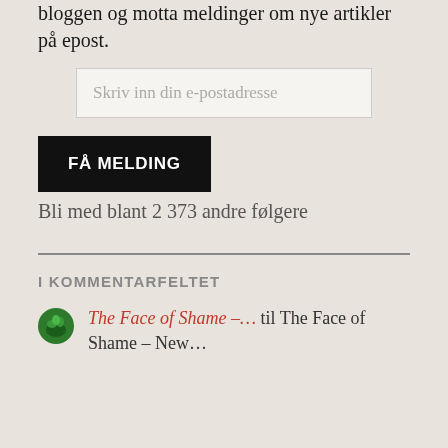Skriv din epostadresse for å følge denne bloggen og motta meldinger om nye artikler på epost.
Skriv inn din e-postadresse
FÅ MELDING
Bli med blant 2 373 andre følgere
I KOMMENTARFELTET
The Face of Shame –… til The Face of Shame – New…